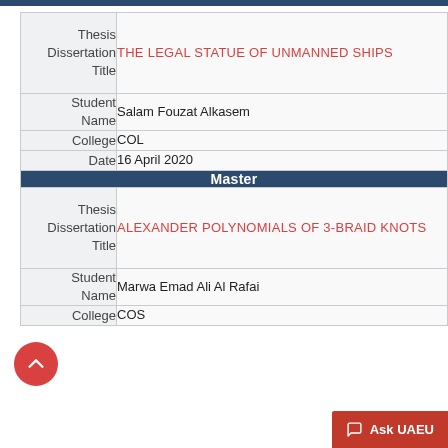| Field | Value |
| --- | --- |
| Thesis Dissertation Title | THE LEGAL STATUE OF UNMANNED SHIPS |
| Student Name | Salam Fouzat Alkasem |
| College | COL |
| Date | 16 April 2020 |
| Master |  |
| Thesis Dissertation Title | ALEXANDER POLYNOMIALS OF 3-BRAID KNOTS |
| Student Name | Marwa Emad Ali Al Rafai |
| College | COS |